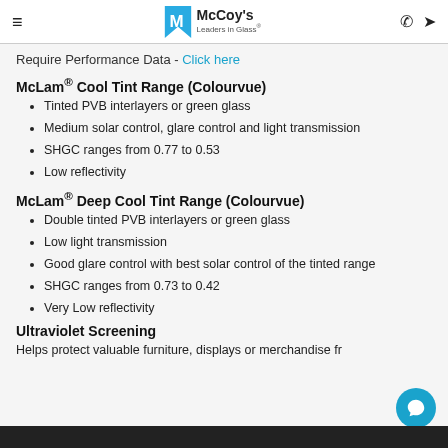McCoy's Leaders in Glass
Require Performance Data - Click here
McLam® Cool Tint Range (Colourvue)
Tinted PVB interlayers or green glass
Medium solar control, glare control and light transmission
SHGC ranges from 0.77 to 0.53
Low reflectivity
McLam® Deep Cool Tint Range (Colourvue)
Double tinted PVB interlayers or green glass
Low light transmission
Good glare control with best solar control of the tinted range
SHGC ranges from 0.73 to 0.42
Very Low reflectivity
Ultraviolet Screening
Helps protect valuable furniture, displays or merchandise fr...